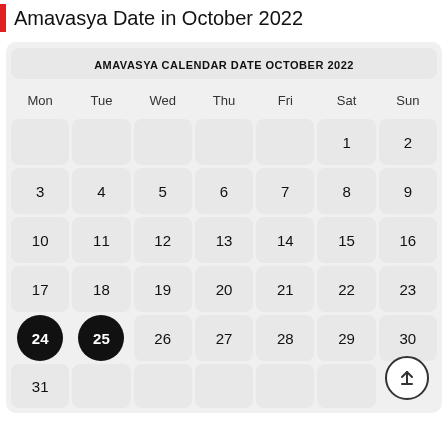Amavasya Date in October 2022
| Mon | Tue | Wed | Thu | Fri | Sat | Sun |
| --- | --- | --- | --- | --- | --- | --- |
|  |  |  |  |  | 1 | 2 |
| 3 | 4 | 5 | 6 | 7 | 8 | 9 |
| 10 | 11 | 12 | 13 | 14 | 15 | 16 |
| 17 | 18 | 19 | 20 | 21 | 22 | 23 |
| 24 | 25 | 26 | 27 | 28 | 29 | 30 |
| 31 |  |  |  |  |  |  |